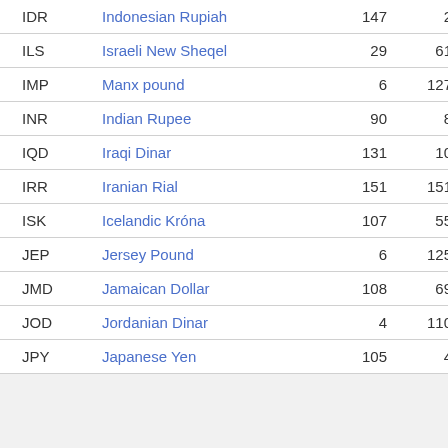| Code | Name | Col3 | Col4 |
| --- | --- | --- | --- |
| IDR | Indonesian Rupiah | 147 | 2 |
| ILS | Israeli New Sheqel | 29 | 61 |
| IMP | Manx pound | 6 | 127 |
| INR | Indian Rupee | 90 | 8 |
| IQD | Iraqi Dinar | 131 | 10 |
| IRR | Iranian Rial | 151 | 151 |
| ISK | Icelandic Króna | 107 | 55 |
| JEP | Jersey Pound | 6 | 125 |
| JMD | Jamaican Dollar | 108 | 69 |
| JOD | Jordanian Dinar | 4 | 110 |
| JPY | Japanese Yen | 105 | 4 |